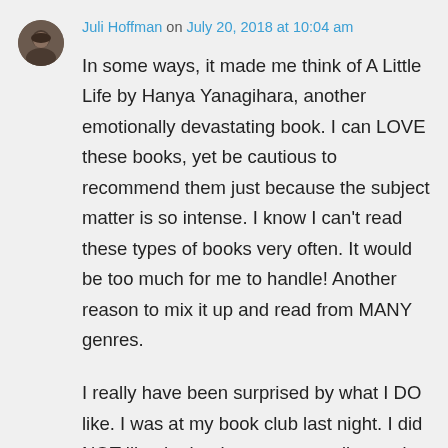Juli Hoffman on July 20, 2018 at 10:04 am
In some ways, it made me think of A Little Life by Hanya Yanagihara, another emotionally devastating book. I can LOVE these books, yet be cautious to recommend them just because the subject matter is so intense. I know I can't read these types of books very often. It would be too much for me to handle! Another reason to mix it up and read from MANY genres.
I really have been surprised by what I DO like. I was at my book club last night. I did NOT like the book we were reading and didn't finish it, but a lot of the women really